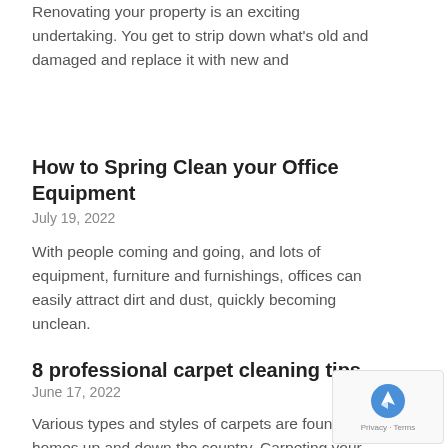Renovating your property is an exciting undertaking. You get to strip down what's old and damaged and replace it with new and
How to Spring Clean your Office Equipment
July 19, 2022
With people coming and going, and lots of equipment, furniture and furnishings, offices can easily attract dirt and dust, quickly becoming unclean.
8 professional carpet cleaning tips
June 17, 2022
Various types and styles of carpets are found in homes up and down the country. Carpeting your home can be a big